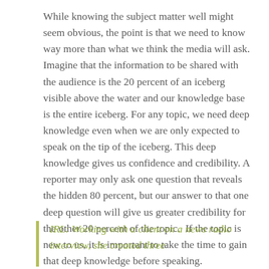While knowing the subject matter well might seem obvious, the point is that we need to know way more than what we think the media will ask. Imagine that the information to be shared with the audience is the 20 percent of an iceberg visible above the water and our knowledge base is the entire iceberg. For any topic, we need deep knowledge even when we are only expected to speak on the tip of the iceberg. This deep knowledge gives us confidence and credibility. A reporter may only ask one question that reveals the hidden 80 percent, but our answer to that one deep question will give us greater credibility for the other 20 percent of the topic.  If the topic is new to us, it is important to take the time to gain that deep knowledge before speaking.
IRL: Working with a client on a news radio interview, she created three